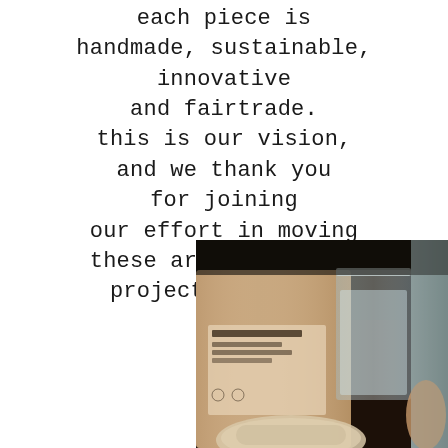each piece is handmade, sustainable, innovative and fairtrade. this is our vision, and we thank you for joining our effort in moving these art and design projects forward.
[Figure (photo): Close-up photograph of eco-friendly product packaging (detergent sheets bag) next to a glass of water, on a light background, warm tones]